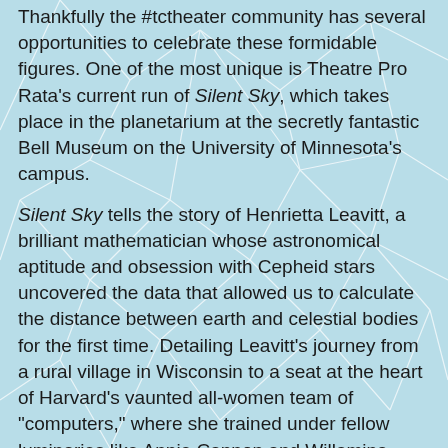Thankfully the #tctheater community has several opportunities to celebrate these formidable figures. One of the most unique is Theatre Pro Rata's current run of Silent Sky, which takes place in the planetarium at the secretly fantastic Bell Museum on the University of Minnesota's campus.
Silent Sky tells the story of Henrietta Leavitt, a brilliant mathematician whose astronomical aptitude and obsession with Cepheid stars uncovered the data that allowed us to calculate the distance between earth and celestial bodies for the first time. Detailing Leavitt's journey from a rural village in Wisconsin to a seat at the heart of Harvard's vaunted all-women team of "computers," where she trained under fellow luminaries like Annie Cannon and Willamina Fleming, Silent Sky is an elegant depiction of the triumph (and sacrifice) that comes with complete dedication to one's passion despite all obstacles. Leavitt's obsession with the astral universe is thrilling and devastating; as pleasurable as it is to watch her soar beyond society's ceiling, it is undeniable that she made life altering sacrifice to do so. It's a stark reminder of how far we still have to travel to truly free women to enjoying an equal opportunity to their chosen careers, regardless of